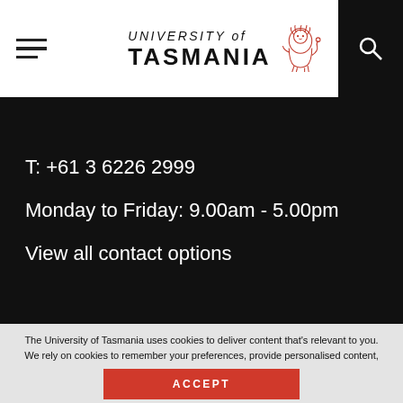University of Tasmania
T: +61 3 6226 2999
Monday to Friday: 9.00am - 5.00pm
View all contact options
The University of Tasmania uses cookies to deliver content that's relevant to you. We rely on cookies to remember your preferences, provide personalised content, and to analyse our website traffic. You consent to our cookies if you click "Accept". Please refer to our privacy policy for more information.